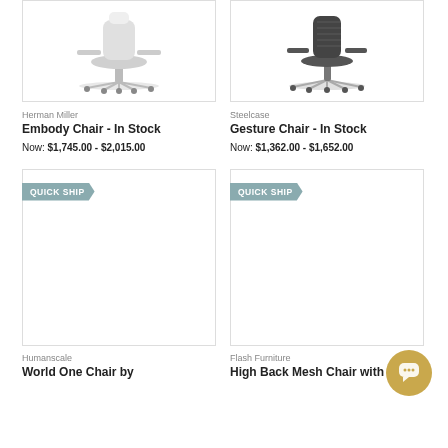[Figure (photo): Herman Miller Embody Chair product photo on white background]
Herman Miller
Embody Chair - In Stock
Now: $1,745.00 - $2,015.00
[Figure (photo): Steelcase Gesture Chair product photo on white background]
Steelcase
Gesture Chair - In Stock
Now: $1,362.00 - $1,652.00
[Figure (photo): Humanscale World One Chair product photo with QUICK SHIP badge]
Humanscale
World One Chair by
[Figure (photo): Flash Furniture High Back Mesh Chair product photo with QUICK SHIP badge]
Flash Furniture
High Back Mesh Chair with